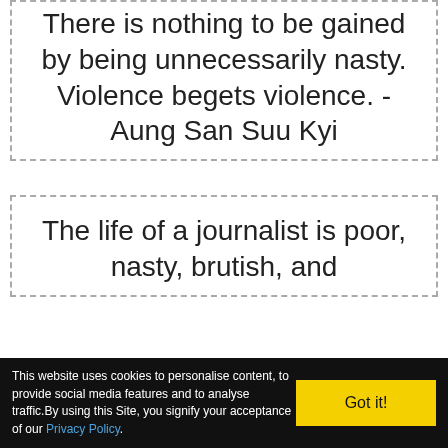There is nothing to be gained by being unnecessarily nasty. Violence begets violence. - Aung San Suu Kyi
The life of a journalist is poor, nasty, brutish, and
This website uses cookies to personalise content, to provide social media features and to analyse traffic.By using this Site, you signify your acceptance of our Privacy Policy.